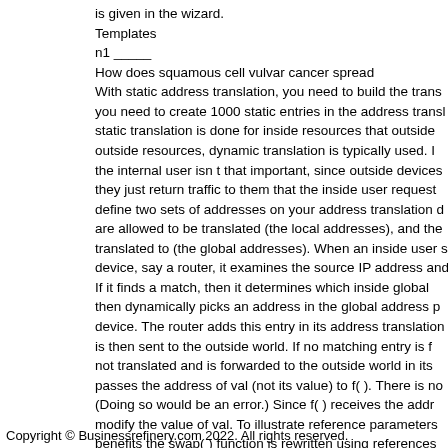is given in the wizard.
Templates
n1 _____
How does squamous cell vulvar cancer spread
With static address translation, you need to build the translation table manually; you need to create 1000 static entries in the address translation table. static translation is done for inside resources that outside resources need to reach. For outside resources, dynamic translation is typically used. In dynamic translation, the internal user isn t that important, since outside devices don t initiate connections; they just return traffic to them that the inside user requested. For dynamic NAT, you define two sets of addresses on your address translation device: the inside addresses that are allowed to be translated (the local addresses), and the addresses they can be translated to (the global addresses). When an inside user sends traffic through the NAT device, say a router, it examines the source IP address and checks its local address list. If it finds a match, then it determines which inside global addresses are available and then dynamically picks an address in the global address pool and assigns it to the device. The router adds this entry in its address translation table, and the traffic is then sent to the outside world. If no matching entry is found, the traffic is not translated and is forwarded to the outside world in its original form. passes the address of val (not its value) to f( ). There is no way f( ) can modify val. (Doing so would be an error.) Since f( ) receives the address of val, it could modify the value of val. To illustrate reference parameters and show how call-by-reference benefits the swap( ) function is rewritten using references. The next example shows how swap( ) is declared and called.
Copyright © Businessrefinery.com 2022. All rights reserved.